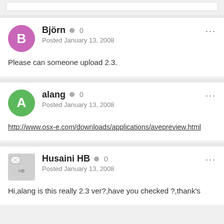Björn • 0
Posted January 13, 2008

Please can someone upload 2.3.
alang • 0
Posted January 13, 2008

http://www.osx-e.com/downloads/applications/avepreview.html
Husaini HB • 0
Posted January 13, 2008

Hi,alang is this really 2.3 ver?,have you checked ?,thank's